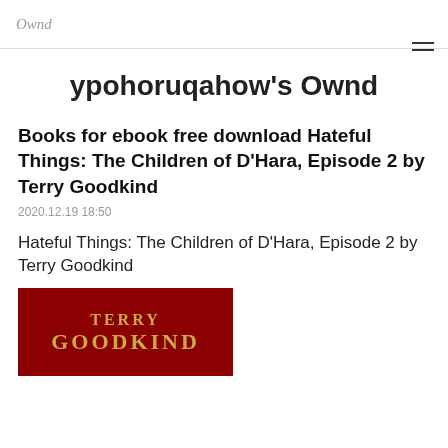Ownd
ypohoruqahow's Ownd
Books for ebook free download Hateful Things: The Children of D'Hara, Episode 2 by Terry Goodkind
2020.12.19 18:50
Hateful Things: The Children of D'Hara, Episode 2 by Terry Goodkind
[Figure (photo): Book cover showing 'TERRY GOODKIND' text in gold on a dark red background]